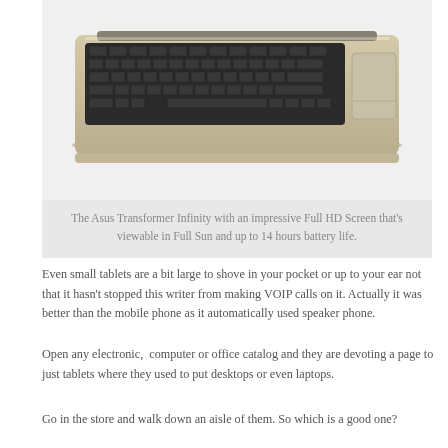[Figure (photo): Photo of an Asus Transformer Infinity keyboard dock/tablet keyboard in gold/silver color with black keys and a trackpad, viewed from slightly above at an angle.]
The Asus Transformer Infinity with an impressive Full HD Screen that's viewable in Full Sun and up to 14 hours battery life.
Even small tablets are a bit large to shove in your pocket or up to your ear not that it hasn't stopped this writer from making VOIP calls on it. Actually it was better than the mobile phone as it automatically used speaker phone.
Open any electronic,  computer or office catalog and they are devoting a page to just tablets where they used to put desktops or even laptops.
Go in the store and walk down an aisle of them. So which is a good one?